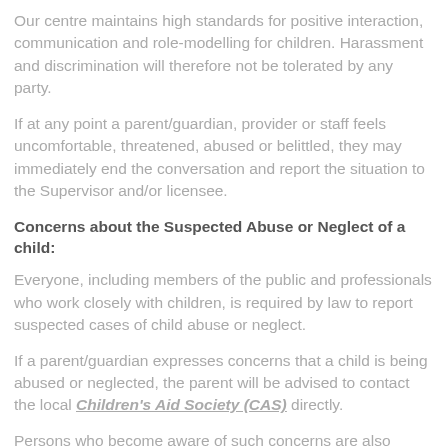Our centre maintains high standards for positive interaction, communication and role-modelling for children. Harassment and discrimination will therefore not be tolerated by any party.
If at any point a parent/guardian, provider or staff feels uncomfortable, threatened, abused or belittled, they may immediately end the conversation and report the situation to the Supervisor and/or licensee.
Concerns about the Suspected Abuse or Neglect of a child:
Everyone, including members of the public and professionals who work closely with children, is required by law to report suspected cases of child abuse or neglect.
If a parent/guardian expresses concerns that a child is being abused or neglected, the parent will be advised to contact the local Children's Aid Society (CAS) directly.
Persons who become aware of such concerns are also responsible for reporting this information to CAS as per the “Duty to Report” requirement under the Child and Family Services Act.